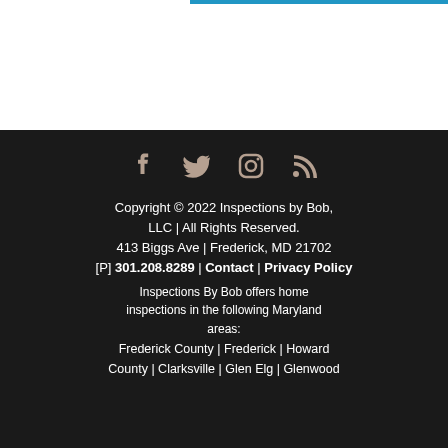Copyright © 2022 Inspections by Bob, LLC | All Rights Reserved.
413 Biggs Ave | Frederick, MD 21702
[P] 301.208.8289 | Contact | Privacy Policy
Inspections By Bob offers home inspections in the following Maryland areas:
Frederick County | Frederick | Howard County | Clarksville | Glen Elg | Glenwood